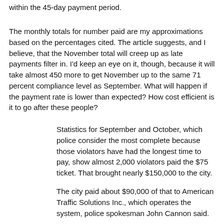within the 45-day payment period.
The monthly totals for number paid are my approximations based on the percentages cited. The article suggests, and I believe, that the November total will creep up as late payments filter in. I'd keep an eye on it, though, because it will take almost 450 more to get November up to the same 71 percent compliance level as September. What will happen if the payment rate is lower than expected? How cost efficient is it to go after these people?
Statistics for September and October, which police consider the most complete because those violators have had the longest time to pay, show almost 2,000 violators paid the $75 ticket. That brought nearly $150,000 to the city.
The city paid about $90,000 of that to American Traffic Solutions Inc., which operates the system, police spokesman John Cannon said.
Jim Tuton, that company's CEO, has said he expected the collection rate to be as high as 90 percent, based on collections in other cities.
In other words, the city took in about $60,000 from this. It's a little hard to extrapolate to an annual figure, since there was a big jump in November, presumably due to the addition of more cameras. I think it's